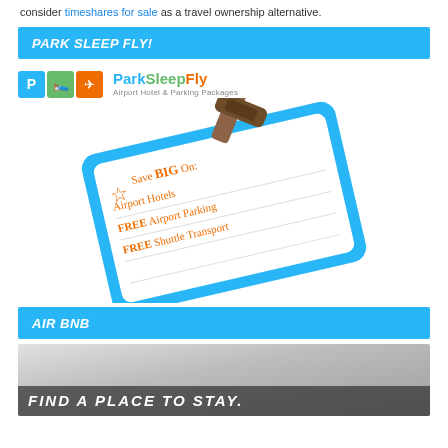consider timeshares for sale as a travel ownership alternative.
PARK SLEEP FLY!
[Figure (logo): ParkSleepFly logo with colored icon boxes (P, bed, plane) and text 'ParkSleepFly Airport Hotel & Parking Packages']
[Figure (illustration): Luggage tag illustration on a blue rounded rectangle background, handwritten orange text: 'Save BIG On: Airport Hotels FREE Airport Parking FREE Shuttle Transport' with a star icon, and a brown strap/buckle on top.]
AIR BNB
[Figure (photo): Grayscale photo of an interior space with a dark overlay banner reading 'FIND A PLACE TO STAY.']